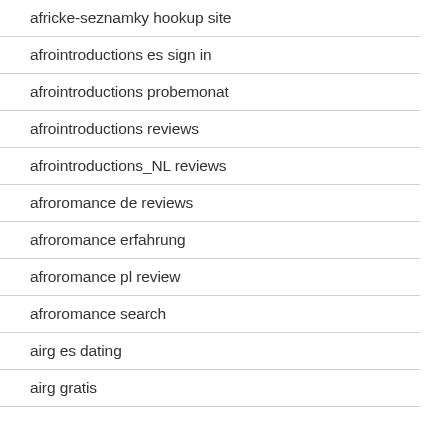africke-seznamky hookup site
afrointroductions es sign in
afrointroductions probemonat
afrointroductions reviews
afrointroductions_NL reviews
afroromance de reviews
afroromance erfahrung
afroromance pl review
afroromance search
airg es dating
airg gratis